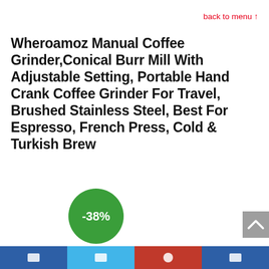back to menu ↑
Wheroamoz Manual Coffee Grinder,Conical Burr Mill With Adjustable Setting, Portable Hand Crank Coffee Grinder For Travel, Brushed Stainless Steel, Best For Espresso, French Press, Cold & Turkish Brew
[Figure (infographic): Green circular discount badge showing -38%]
[Figure (infographic): Grey scroll-to-top button with upward chevron arrow]
Bottom navigation bar with social/share icons in blue, light blue, red, and blue segments